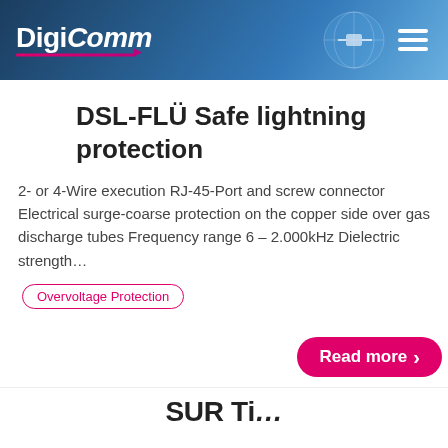DigiComm
DSL-FLÜ Safe lightning protection
2- or 4-Wire execution RJ-45-Port and screw connector Electrical surge-coarse protection on the copper side over gas discharge tubes Frequency range 6 – 2.000kHz Dielectric strength...
Overvoltage Protection
Read more ›
SUR Ti...